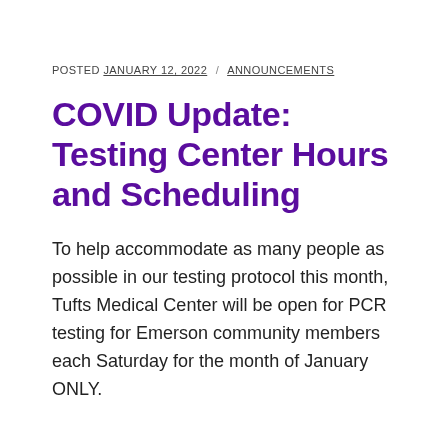POSTED JANUARY 12, 2022 / ANNOUNCEMENTS
COVID Update: Testing Center Hours and Scheduling
To help accommodate as many people as possible in our testing protocol this month, Tufts Medical Center will be open for PCR testing for Emerson community members each Saturday for the month of January ONLY.